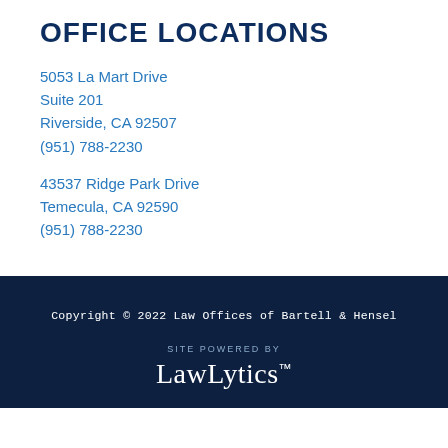OFFICE LOCATIONS
5053 La Mart Drive
Suite 201
Riverside, CA 92507
(951) 788-2230
43537 Ridge Park Drive
Temecula, CA 92590
(951) 788-2230
Copyright © 2022 Law Offices of Bartell & Hensel
[Figure (logo): LawLytics logo with 'SITE POWERED BY' label above in white on dark navy background]